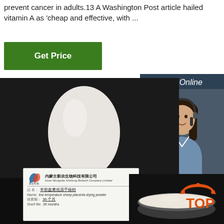prevent cancer in adults.13 A Washington Post article hailed vitamin A as 'cheap and effective, with ...
[Figure (other): Green 'Get Price' button]
[Figure (other): Sidebar with 24/7 Online chat agent photo, 'Click here for free chat!' text, and orange QUOTATION button]
[Figure (photo): Product photo: white egg-shaped powder container on dark background, with product label card showing Inner Mongolia XinHong Biotech Company Limited, low temperature sheep placenta drying powder, shelf life 36 months]
[Figure (photo): Bowl of white powder on dark background with orange TOP badge/logo]